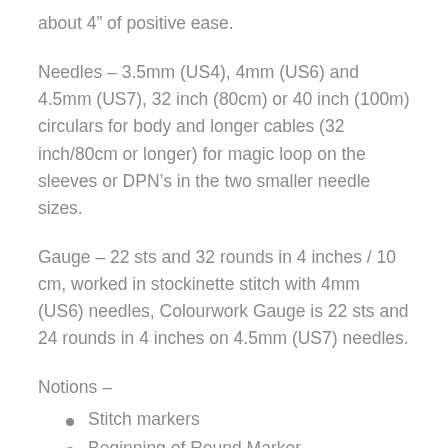about 4” of positive ease.
Needles – 3.5mm (US4), 4mm (US6) and 4.5mm (US7), 32 inch (80cm) or 40 inch (100m) circulars for body and longer cables (32 inch/80cm or longer) for magic loop on the sleeves or DPN’s in the two smaller needle sizes.
Gauge – 22 sts and 32 rounds in 4 inches / 10 cm, worked in stockinette stitch with 4mm (US6) needles, Colourwork Gauge is 22 sts and 24 rounds in 4 inches on 4.5mm (US7) needles.
Notions –
Stitch markers
Beginning of Round Marker,
Short Row Marker,